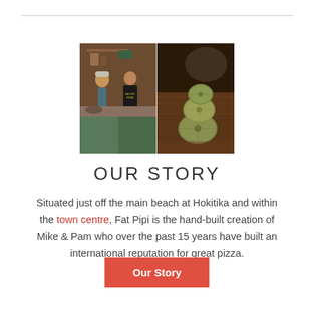[Figure (photo): Two side-by-side photos: left shows people working in a pizza kitchen (one person with a hat facing another person in a black 'Fat Pipi Pizzas' shirt), right shows stacked sea urchin shells on a wooden surface.]
OUR STORY
Situated just off the main beach at Hokitika and within the town centre, Fat Pipi is the hand-built creation of Mike & Pam who over the past 15 years have built an international reputation for great pizza.
Our Story